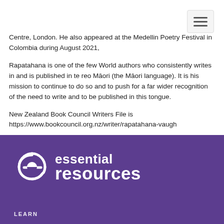Navigation menu button
Centre, London. He also appeared at the Medellin Poetry Festival in Colombia during August 2021,
Rapatahana is one of the few World authors who consistently writes in and is published in te reo Māori (the Māori language). It is his mission to continue to do so and to push for a far wider recognition of the need to write and to be published in this tongue.
New Zealand Book Council Writers File is https://www.bookcouncil.org.nz/writer/rapatahana-vaugh
[Figure (logo): Essential Resources logo: white spiral 'e' icon followed by 'essential resources' in white bold text on purple background]
LEARN